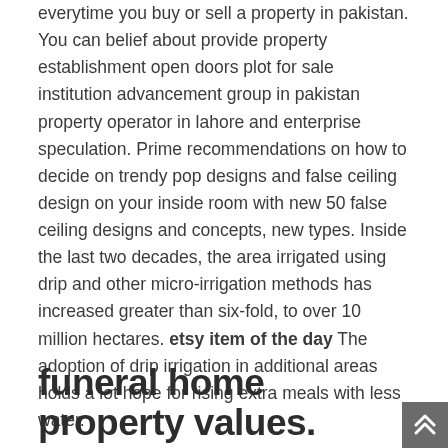everytime you buy or sell a property in pakistan. You can belief about provide property establishment open doors plot for sale institution advancement group in pakistan property operator in lahore and enterprise speculation. Prime recommendations on how to decide on trendy pop designs and false ceiling design on your inside room with new 50 false ceiling designs and concepts, new types. Inside the last two decades, the area irrigated using drip and other micro-irrigation methods has increased greater than six-fold, to over 10 million hectares. etsy item of the day The adoption of drip irrigation in additional areas holds a lot hope for rising extra meals with less water.
funeral home property values.